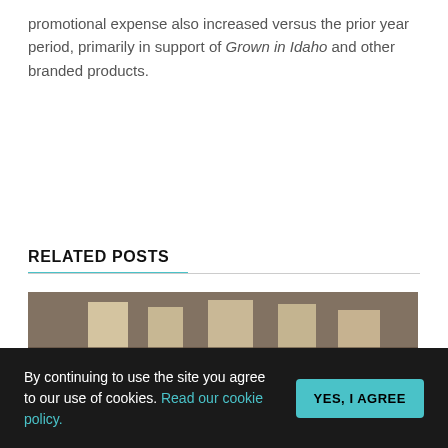promotional expense also increased versus the prior year period, primarily in support of Grown in Idaho and other branded products.
RELATED POSTS
[Figure (photo): A partially visible outdoor photo with figures or structures, muted earthy tones.]
By continuing to use the site you agree to our use of cookies. Read our cookie policy.